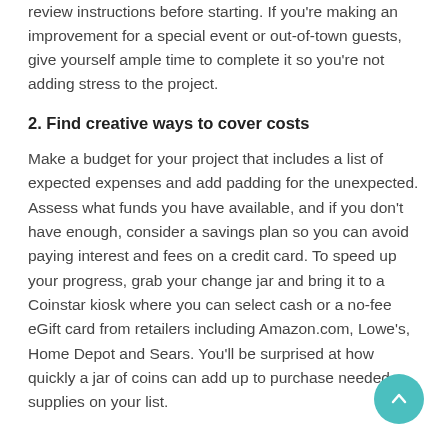review instructions before starting. If you're making an improvement for a special event or out-of-town guests, give yourself ample time to complete it so you're not adding stress to the project.
2. Find creative ways to cover costs
Make a budget for your project that includes a list of expected expenses and add padding for the unexpected. Assess what funds you have available, and if you don't have enough, consider a savings plan so you can avoid paying interest and fees on a credit card. To speed up your progress, grab your change jar and bring it to a Coinstar kiosk where you can select cash or a no-fee eGift card from retailers including Amazon.com, Lowe's, Home Depot and Sears. You'll be surprised at how quickly a jar of coins can add up to purchase needed supplies on your list.